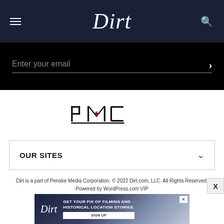Dirt
Enter your email
[Figure (logo): PMC (Penske Media Corporation) logo in black text with a red accent mark]
OUR SITES
Dirt is a part of Penske Media Corporation. © 2022 Dirt.com, LLC. All Rights Reserved. Powered by WordPress.com VIP
[Figure (screenshot): Advertisement banner for Dirt: GET YOUR FIX OF FILMING AND HISTORICAL LOCATION STORIES. SIGN UP]